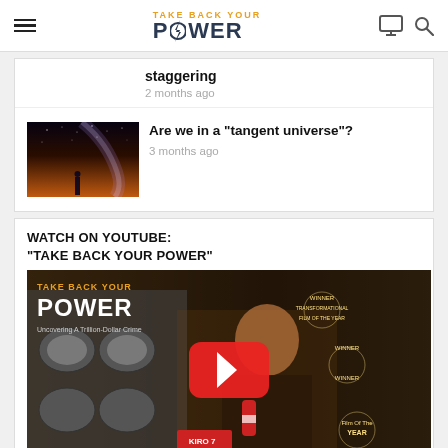TAKE BACK YOUR POWER
staggering
2 months ago
[Figure (photo): Night sky with milky way and person silhouette]
Are we in a “tangent universe”?
3 months ago
WATCH ON YOUTUBE:
"TAKE BACK YOUR POWER"
[Figure (screenshot): YouTube video thumbnail for Take Back Your Power documentary showing a woman reporter in front of electrical meters with a play button overlay and award laurels]